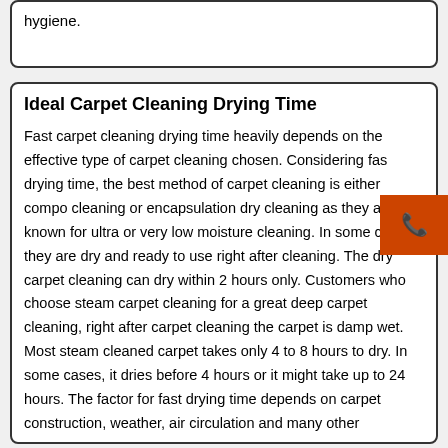hygiene.
Ideal Carpet Cleaning Drying Time
Fast carpet cleaning drying time heavily depends on the effective type of carpet cleaning chosen. Considering fast drying time, the best method of carpet cleaning is either compound cleaning or encapsulation dry cleaning as they are well known for ultra or very low moisture cleaning. In some cases, they are dry and ready to use right after cleaning. The dry carpet cleaning can dry within 2 hours only. Customers who choose steam carpet cleaning for a great deep carpet cleaning, right after carpet cleaning the carpet is damp wet. Most steam cleaned carpet takes only 4 to 8 hours to dry. In some cases, it dries before 4 hours or it might take up to 24 hours. The factor for fast drying time depends on carpet construction, weather, air circulation and many other parameters.